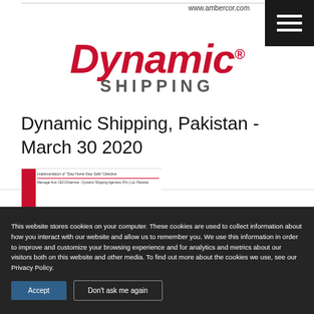www.ambercor.com
[Figure (logo): Dynamic Shipping logo — 'Dynamic' in red italic bold serif font with registered trademark symbol, 'SHIPPING' in grey bold caps below]
Dynamic Shipping, Pakistan - March 30 2020
[Figure (screenshot): Thumbnail preview of a document with red bar on left, text 'Implementation of "Stay Home-Stay Safe" Directive' and 'Message from CEO/Chairman - Dynamic Shipping Agencies (Pvt.) Ltd. Pakistan']
This website stores cookies on your computer. These cookies are used to collect information about how you interact with our website and allow us to remember you. We use this information in order to improve and customize your browsing experience and for analytics and metrics about our visitors both on this website and other media. To find out more about the cookies we use, see our Privacy Policy.